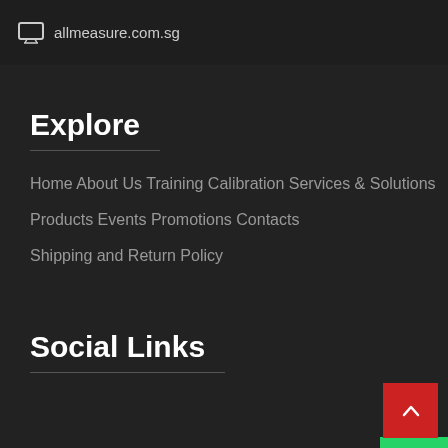allmeasure.com.sg
Explore
Home About Us Training Calibration Services & Solutions
Products Events Promotions Contacts
Shipping and Return Policy
Social Links
[Figure (other): WhatsApp floating button (green square with WhatsApp logo)]
[Figure (other): Scroll-to-top button (red square with upward arrow)]